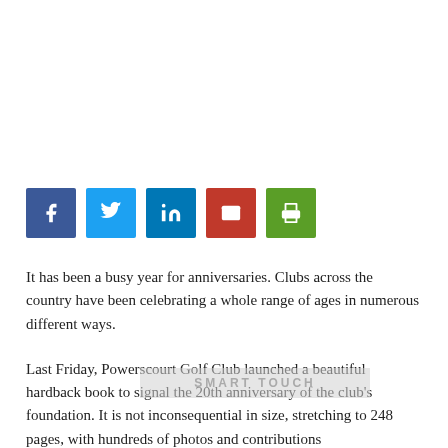[Figure (infographic): Row of five social media share buttons: Facebook (blue), Twitter (light blue), LinkedIn (dark blue), Email (red), Print (green)]
It has been a busy year for anniversaries. Clubs across the country have been celebrating a whole range of ages in numerous different ways.
Last Friday, Powerscourt Golf Club launched a beautiful hardback book to signal the 20th anniversary of the club's foundation. It is not inconsequential in size, stretching to 248 pages, with hundreds of photos and contributions